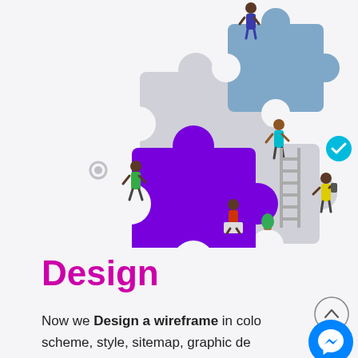[Figure (illustration): Colorful illustration of people assembling large jigsaw puzzle pieces. A large purple puzzle piece is in the center, with grey/blue puzzle pieces around it. Several cartoon figures of people are shown working together — one on top placing a blue piece, one on a ladder, one pushing the purple piece, one sitting with a laptop at the bottom, and one on the right with a phone. A teal checkmark badge is visible on the right side.]
Design
Now we Design a wireframe in color scheme, style, sitemap, graphic design layout as JPG or PNG. We will bring your